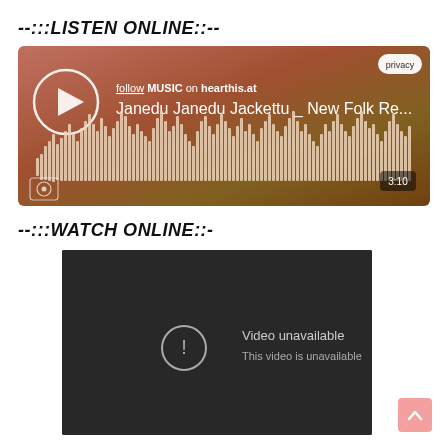--:::LISTEN ONLINE::--
[Figure (screenshot): Audio player widget from hearthis.at showing a waveform visualization for 'Janedu Janedu Jackettu _ New Folk Re...' with play button, duration 3:10, and privacy button. Background is a warm brown/orange gradient.]
--:::WATCH ONLINE::-
[Figure (screenshot): YouTube video embed showing 'Video unavailable - This video is unavailable' error message on dark background, with a circular warning icon.]